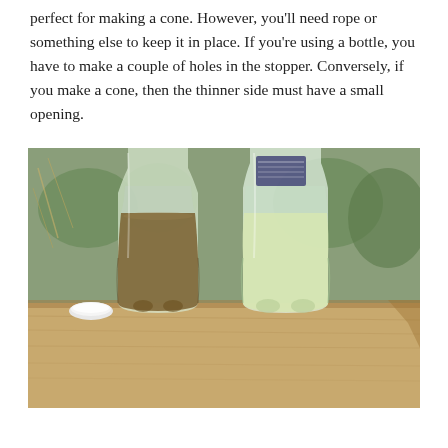perfect for making a cone. However, you'll need rope or something else to keep it in place. If you're using a bottle, you have to make a couple of holes in the stopper. Conversely, if you make a cone, then the thinner side must have a small opening.
[Figure (photo): Two plastic bottles on a wooden plank outdoors. The left bottle contains murky brown water and has a white cap beside it. The right bottle contains clearer, slightly yellowish water. Green foliage visible in background.]
partial text continues at bottom of page